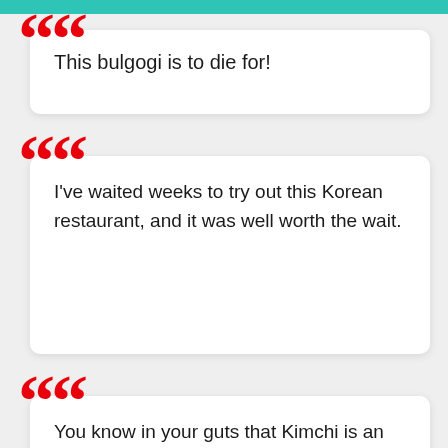This bulgogi is to die for!
I've waited weeks to try out this Korean restaurant, and it was well worth the wait.
You know in your guts that Kimchi is an all-time favorite.